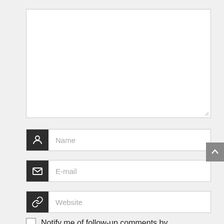[Figure (screenshot): A comment form with a large textarea at top, followed by Name, E-mail, and Website input fields each with a dark icon on the left, a back-to-top arrow button on the right edge, and a checkbox row at the bottom reading 'Notify me of follow-up comments by']
Name
E-mail
Website
Notify me of follow-up comments by